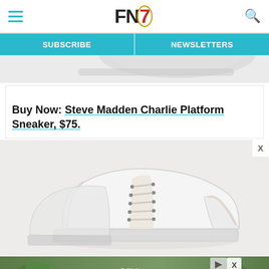FN7 — Footwear News header with hamburger menu, logo, and search icon
SUBSCRIBE | NEWSLETTERS
[Figure (photo): Partial view of a white sneaker sole at top of page]
Buy Now: Steve Madden Charlie Platform Sneaker, $75.
[Figure (photo): Steve Madden Charlie Platform Sneaker — white low-top canvas sneaker with platform sole on light grey background]
[Figure (photo): Advertisement banner at bottom with green leaves and cursive text]